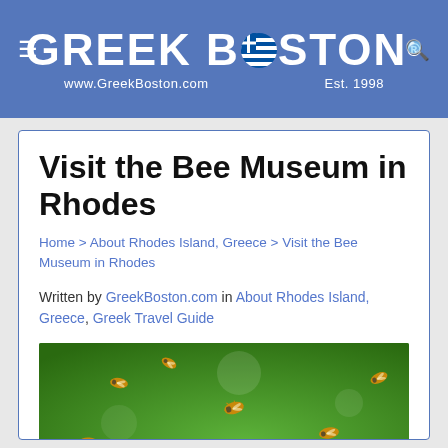GREEK BOSTON® — www.GreekBoston.com — Est. 1998
Visit the Bee Museum in Rhodes
Home > About Rhodes Island, Greece > Visit the Bee Museum in Rhodes
Written by GreekBoston.com in About Rhodes Island, Greece, Greek Travel Guide
[Figure (photo): Multiple honey bees flying in mid-air against a green background]